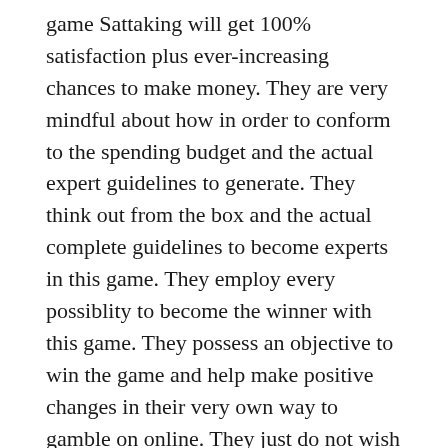game Sattaking will get 100% satisfaction plus ever-increasing chances to make money. They are very mindful about how in order to conform to the spending budget and the actual expert guidelines to generate. They think out from the box and the actual complete guidelines to become experts in this game. They employ every possiblity to become the winner with this game. They possess an objective to win the game and help make positive changes in their very own way to gamble on online. They just do not wish to bargain their budget and wishes regarding the gambling entertainment.
The Main Attractions of the Game
All fresh people to the Satta King Best may make a better-informed decision to signal up here in addition to start their stage to excel inside the number gambling online game. They can commence having fun with fewer portions. They must choose